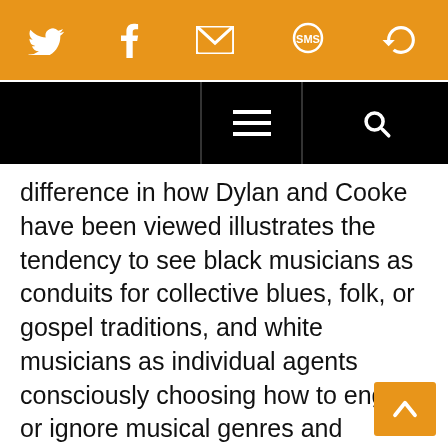[Figure (screenshot): Orange navigation bar with social media icons: Twitter, Facebook, email/envelope, SMS, and a reload/share icon, all in white on an orange background.]
[Figure (screenshot): Black navigation bar with a hamburger menu icon in the center and a search (magnifying glass) icon on the right.]
difference in how Dylan and Cooke have been viewed illustrates the tendency to see black musicians as conduits for collective blues, folk, or gospel traditions, and white musicians as individual agents consciously choosing how to engage or ignore musical genres and influences.
Contested ideas of authenticity and integrity also freight the musical and cultural definitions of soul. Assessing the work of Janis Joplin, Aretha Franklin, and Dusty Springfield, Hamilton explores charges